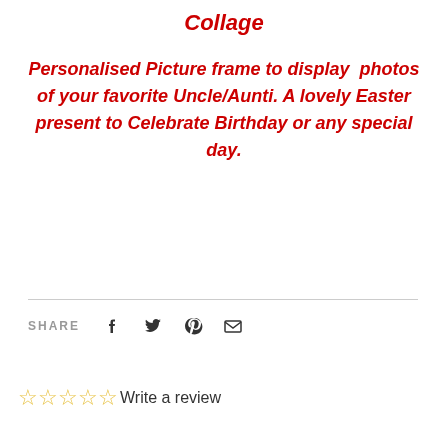Collage
Personalised Picture frame to display  photos of your favorite Uncle/Aunti. A lovely Easter present to Celebrate Birthday or any special day.
SHARE
Write a review